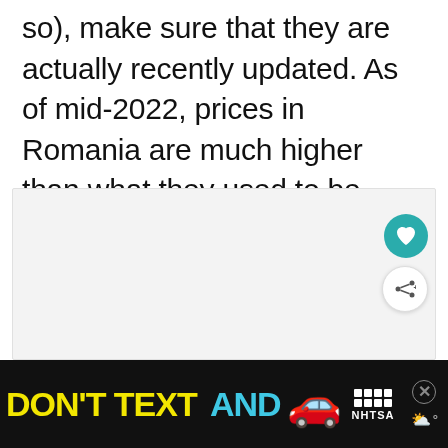so), make sure that they are actually recently updated. As of mid-2022, prices in Romania are much higher than what they used to be, even double in some cases!
[Figure (other): A large light gray placeholder image box occupying the middle section of the page, with a heart (favorite) button and a share button overlapping on the right side.]
[Figure (screenshot): A black advertisement banner at the bottom reading DON'T TEXT AND with a red car emoji, ad badge, NHTSA logo, and close buttons.]